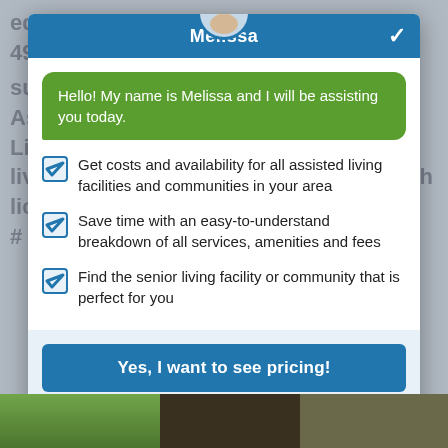equip...o care for up to 6 seniors from 49622 zip code in Clare county and surrounding areas. Country Care Assisted Li...censed to provide assisted senior living services in Farwell, Michigan, with license # ...0305 (989) 948-9353 (888) 948-8352 VIEW PRICING & AVAILABILITY (9)
Melissa
Hello! My name is Melissa and I will be assisting you today.
Get costs and availability for all assisted living facilities and communities in your area
Save time with an easy-to-understand breakdown of all services, amenities and fees
Find the senior living facility or community that is perfect for you
Yes, I want to see pricing!
Or call (888) 948-8352